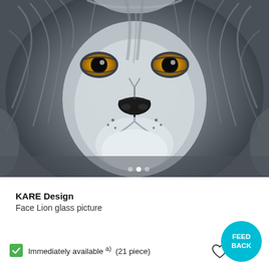[Figure (photo): Close-up black and white photo of a lion's face with vivid amber/yellow eyes, dense mane, prominent nose and mouth area. A small white carousel dot indicator is visible near the bottom center of the image.]
KARE Design
Face Lion glass picture
Immediately available a)  (21 piece)
[Figure (illustration): FEEDBACK button — circular teal badge with white text reading FEED BACK]